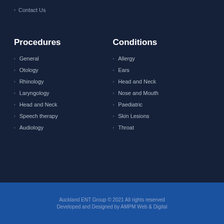Contact Us
Procedures
General
Otology
Rhinology
Laryngology
Head and Neck
Speech therapy
Audiology
Conditions
Allergy
Ears
Head and Neck
Nose and Mouth
Paediatric
Skin Lesions
Throat
Auckland ENT Group © 2021 All rights reserved
Developed and Designed by AMPM Web & Digital